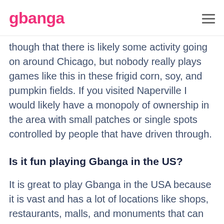gbanga
though that there is likely some activity going on around Chicago, but nobody really plays games like this in these frigid corn, soy, and pumpkin fields. If you visited Naperville I would likely have a monopoly of ownership in the area with small patches or single spots controlled by people that have driven through.
Is it fun playing Gbanga in the US?
It is great to play Gbanga in the USA because it is vast and has a lot of locations like shops, restaurants, malls, and monuments that can be taken over